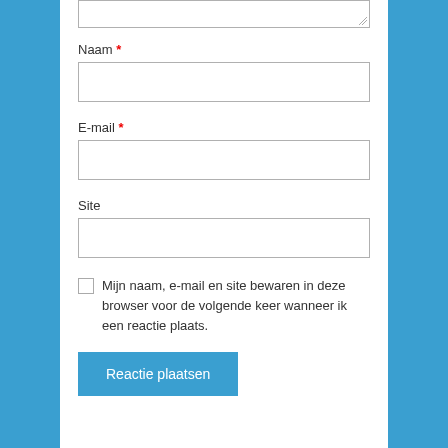Naam *
E-mail *
Site
Mijn naam, e-mail en site bewaren in deze browser voor de volgende keer wanneer ik een reactie plaats.
Reactie plaatsen